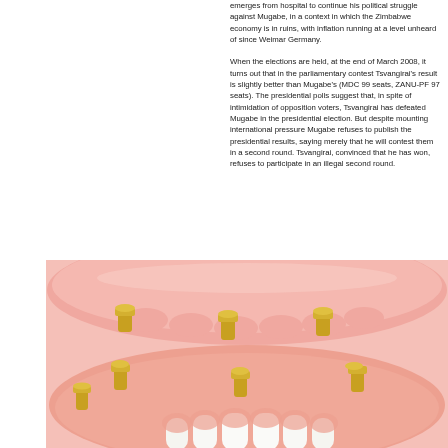emerges from hospital to continue his political struggle against Mugabe, in a context in which the Zimbabwe economy is in ruins, with inflation running at a level unheard of since Weimar Germany.

When the elections are held, at the end of March 2008, it turns out that in the parliamentary contest Tsvangirai's result is slightly better than Mugabe's (MDC 99 seats, ZANU-PF 97 seats). The presidential polls suggest that, in spite of intimidation of opposition voters, Tsvangirai has defeated Mugabe in the presidential election. But despite mounting international pressure Mugabe refuses to publish the presidential results, saying merely that he will contest them in a second round. Tsvangirai, convinced that he has won, refuses to participate in an illegal second round.
[Figure (illustration): Medical illustration of dental implants showing a cross-section view with gold-colored implant abutments embedded in pink gum tissue, with white teeth visible at the bottom. Shows both upper and lower jaw implant components.]